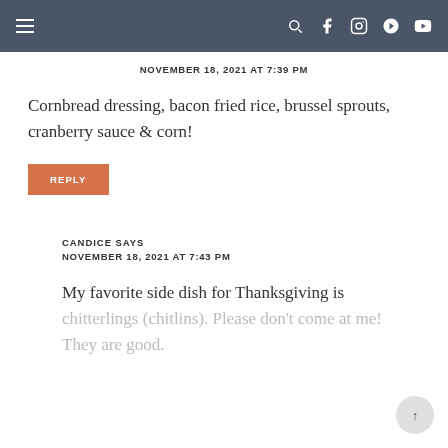Navigation bar with hamburger menu and social icons (search, facebook, instagram, pinterest, youtube)
NOVEMBER 18, 2021 AT 7:39 PM
Cornbread dressing, bacon fried rice, brussel sprouts, cranberry sauce & corn!
REPLY
CANDICE SAYS
NOVEMBER 18, 2021 AT 7:43 PM
My favorite side dish for Thanksgiving is chitterlings (chitlins). Please don't come at me! They are good.